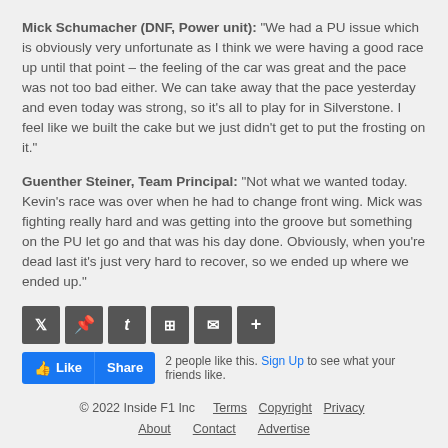Mick Schumacher (DNF, Power unit): "We had a PU issue which is obviously very unfortunate as I think we were having a good race up until that point – the feeling of the car was great and the pace was not too bad either. We can take away that the pace yesterday and even today was strong, so it's all to play for in Silverstone. I feel like we built the cake but we just didn't get to put the frosting on it."
Guenther Steiner, Team Principal: "Not what we wanted today. Kevin's race was over when he had to change front wing. Mick was fighting really hard and was getting into the groove but something on the PU let go and that was his day done. Obviously, when you're dead last it's just very hard to recover, so we ended up where we ended up."
[Figure (other): Social sharing buttons: Twitter, Pinterest, Tumblr, Mix, Email, Plus]
[Figure (other): Facebook Like and Share buttons with '2 people like this. Sign Up to see what your friends like.']
© 2022 Inside F1 Inc   Terms   Copyright   Privacy   About   Contact   Advertise